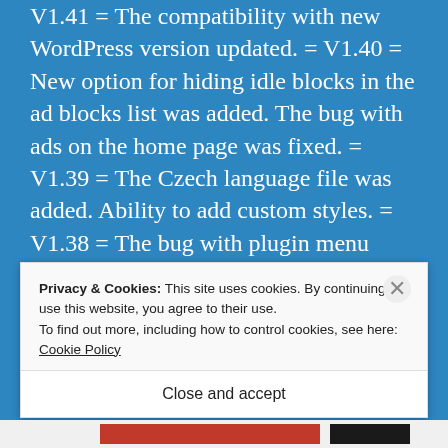V1.41 = The compatibility with new WordPress version updated. = V1.40 = New option for hiding idle blocks in the ad blocks list was added. The bug with ads on the home page was fixed. = V1.39 = The Czech language file was added. Ability to add custom styles. = V1.38 = The bug with plugin menu duplicating was fixed. = V1.37 = Textdomain was changed. V1.36 = ...
Privacy & Cookies: This site uses cookies. By continuing to use this website, you agree to their use.
To find out more, including how to control cookies, see here: Cookie Policy
Close and accept